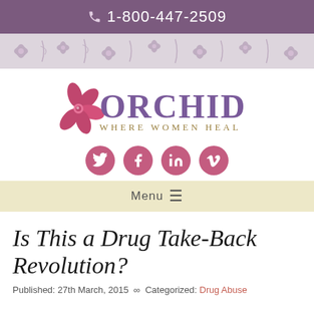1-800-447-2509
[Figure (logo): Orchid – Where Women Heal logo with pink flower and purple text]
[Figure (infographic): Social media icons: Twitter, Facebook, LinkedIn, Vimeo]
Menu
Is This a Drug Take-Back Revolution?
Published: 27th March, 2015  ∞  Categorized: Drug Abuse